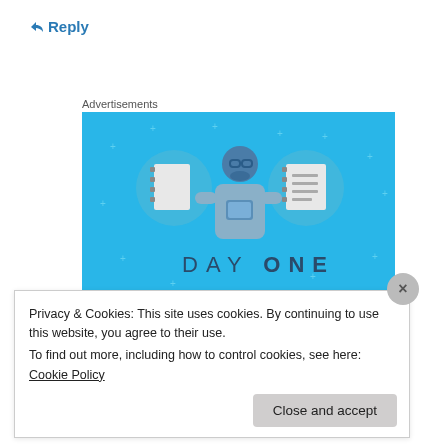↵ Reply
Advertisements
[Figure (illustration): Day One journaling app advertisement on a blue background. Shows a person holding a phone flanked by two circular icons with notebook illustrations. Text reads 'DAY ONE' and 'The only journaling app you'll ever need.']
Privacy & Cookies: This site uses cookies. By continuing to use this website, you agree to their use.
To find out more, including how to control cookies, see here: Cookie Policy